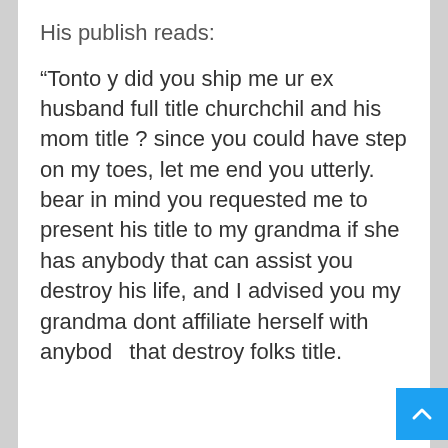His publish reads:
“Tonto y did you ship me ur ex husband full title churchchil and his mom title ? since you could have step on my toes, let me end you utterly. bear in mind you requested me to present his title to my grandma if she has anybody that can assist you destroy his life, and I advised you my grandma dont affiliate herself with anybody that destroy folks title.